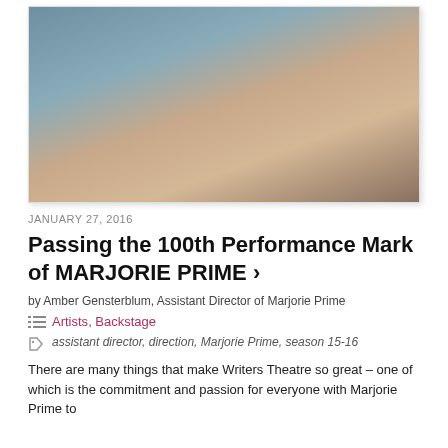[Figure (photo): Close-up photo of a woman with glasses and dark hair, smiling]
JANUARY 27, 2016
Passing the 100th Performance Mark of MARJORIE PRIME ›
by Amber Gensterblum, Assistant Director of Marjorie Prime
Artists, Backstage
assistant director, direction, Marjorie Prime, season 15-16
There are many things that make Writers Theatre so great – one of which is the commitment and passion for everyone with Marjorie Prime to